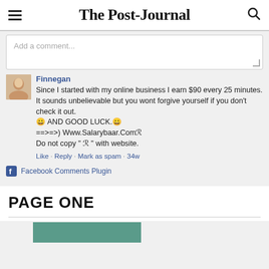The Post-Journal
Add a comment...
Finnegan
Since I started with my online business I earn $90 every 25 minutes. It sounds unbelievable but you wont forgive yourself if you don't check it out.
😀 AND GOOD LUCK.😀
==>=>) Www.Salarybaar.ComℛDo not copy " ℛ " with website.
Like · Reply · Mark as spam · 34w
Facebook Comments Plugin
PAGE ONE